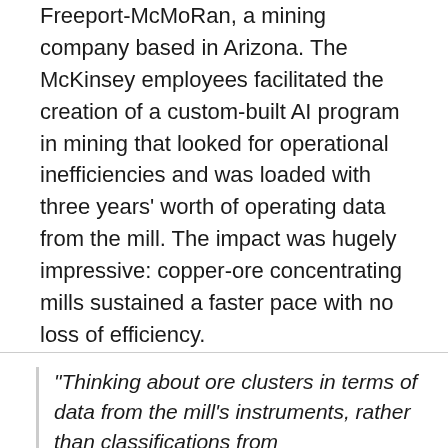Freeport-McMoRan, a mining company based in Arizona. The McKinsey employees facilitated the creation of a custom-built AI program in mining that looked for operational inefficiencies and was loaded with three years' worth of operating data from the mill. The impact was hugely impressive: copper-ore concentrating mills sustained a faster pace with no loss of efficiency.
In fact, Freeport-McMoRan reported that as time progressed and they became more familiar with AI techniques and analytics, they could scan vast amounts of data, identifying even more operational changes that might improve performance. Sean Buckley, McKinsey Partner and Analytics Leader, said,
“Thinking about ore clusters in terms of data from the mill’s instruments, rather than classifications from